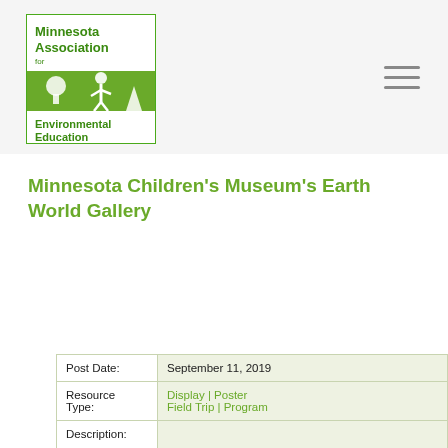[Figure (logo): Minnesota Association for Environmental Education logo — green square border with white text 'Minnesota Association for Environmental Education' and green illustrated figure/trees]
Minnesota Children's Museum's Earth World Gallery
| Post Date: | September 11, 2019 |
| Resource Type: | Display | Poster
Field Trip | Program |
| Description: | The Earth World gallery focuses on three Minnesota habitats: a maple-basswood forest, a cattail pond, and a prairie (in the form of an anthill). Within this realistic yet simplified environment, visitors are encouraged to explore features of the natural world, discover Minnesota creatures, and |